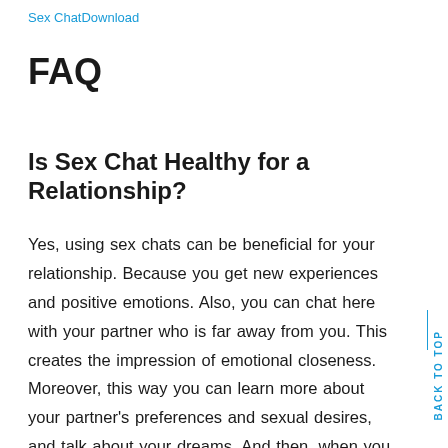Sex ChatDownload
FAQ
Is Sex Chat Healthy for a Relationship?
Yes, using sex chats can be beneficial for your relationship. Because you get new experiences and positive emotions. Also, you can chat here with your partner who is far away from you. This creates the impression of emotional closeness. Moreover, this way you can learn more about your partner's preferences and sexual desires, and talk about your dreams. And then, when you meet, you